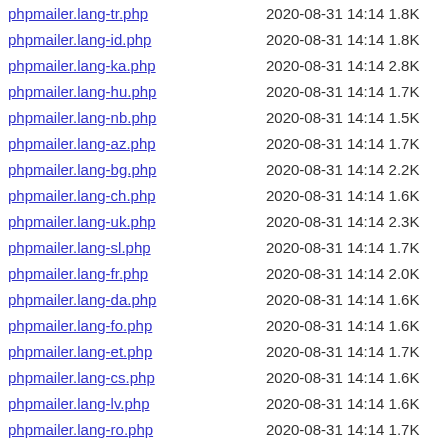phpmailer.lang-tr.php   2020-08-31 14:14 1.8K
phpmailer.lang-id.php   2020-08-31 14:14 1.8K
phpmailer.lang-ka.php   2020-08-31 14:14 2.8K
phpmailer.lang-hu.php   2020-08-31 14:14 1.7K
phpmailer.lang-nb.php   2020-08-31 14:14 1.5K
phpmailer.lang-az.php   2020-08-31 14:14 1.7K
phpmailer.lang-bg.php   2020-08-31 14:14 2.2K
phpmailer.lang-ch.php   2020-08-31 14:14 1.6K
phpmailer.lang-uk.php   2020-08-31 14:14 2.3K
phpmailer.lang-sl.php   2020-08-31 14:14 1.7K
phpmailer.lang-fr.php   2020-08-31 14:14 2.0K
phpmailer.lang-da.php   2020-08-31 14:14 1.6K
phpmailer.lang-fo.php   2020-08-31 14:14 1.6K
phpmailer.lang-et.php   2020-08-31 14:14 1.7K
phpmailer.lang-cs.php   2020-08-31 14:14 1.6K
phpmailer.lang-lv.php   2020-08-31 14:14 1.6K
phpmailer.lang-ro.php   2020-08-31 14:14 1.7K
phpmailer.lang-ko.php   2020-08-31 14:14 1.8K
phpmailer.lang-hi.php   2020-08-31 14:14 2.6K
phpmailer.lang-zh.php   2020-08-31 14:14 1.7K